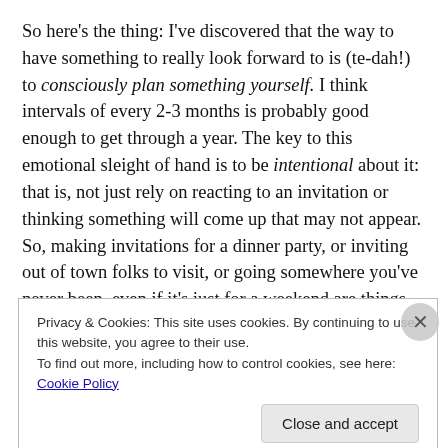So here's the thing: I've discovered that the way to have something to really look forward to is (te-dah!) to consciously plan something yourself. I think intervals of every 2-3 months is probably good enough to get through a year. The key to this emotional sleight of hand is to be intentional about it: that is, not just rely on reacting to an invitation or thinking something will come up that may not appear. So, making invitations for a dinner party, or inviting out of town folks to visit, or going somewhere you've never been, even if it's just for a weekend are things that we can
Privacy & Cookies: This site uses cookies. By continuing to use this website, you agree to their use.
To find out more, including how to control cookies, see here: Cookie Policy
Close and accept